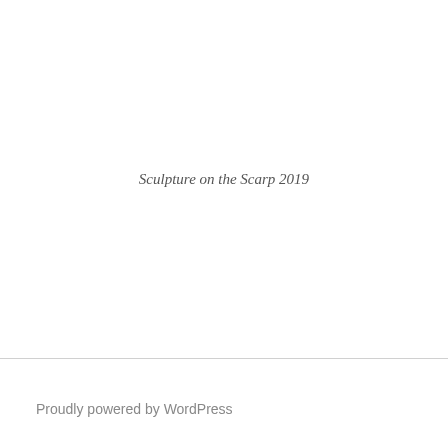Sculpture on the Scarp 2019
Proudly powered by WordPress